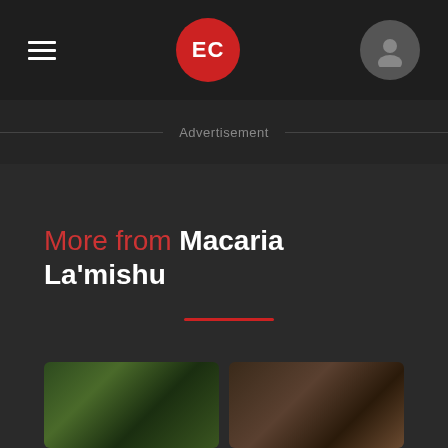EC
Advertisement
More from Macaria La'mishu
[Figure (photo): Two thumbnail images at bottom: left shows a green/nature scene, right shows a warm brown/pink scene]
[Figure (photo): Right thumbnail: warm brown and pink toned scene]